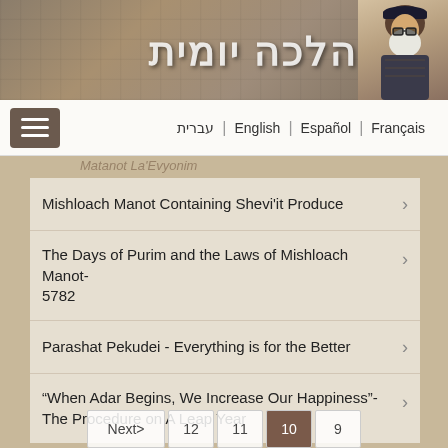[Figure (screenshot): Website header banner showing stone wall background with Hebrew title 'הלכה יומית' and rabbi figure on right]
עברית | English | Español | Français
Mishloach Manot Containing Shevi'it Produce
The Days of Purim and the Laws of Mishloach Manot- 5782
Parashat Pekudei - Everything is for the Better
“When Adar Begins, We Increase Our Happiness”- The Procedure on A Leap Year